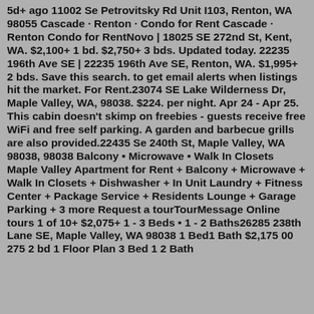5d+ ago 11002 Se Petrovitsky Rd Unit I103, Renton, WA 98055 Cascade · Renton · Condo for Rent Cascade · Renton Condo for RentNovo | 18025 SE 272nd St, Kent, WA. $2,100+ 1 bd. $2,750+ 3 bds. Updated today. 22235 196th Ave SE | 22235 196th Ave SE, Renton, WA. $1,995+ 2 bds. Save this search. to get email alerts when listings hit the market. For Rent.23074 SE Lake Wilderness Dr, Maple Valley, WA, 98038. $224. per night. Apr 24 - Apr 25. This cabin doesn't skimp on freebies - guests receive free WiFi and free self parking. A garden and barbecue grills are also provided.22435 Se 240th St, Maple Valley, WA 98038, 98038 Balcony • Microwave • Walk In Closets Maple Valley Apartment for Rent + Balcony + Microwave + Walk In Closets + Dishwasher + In Unit Laundry + Fitness Center + Package Service + Residents Lounge + Garage Parking + 3 more Request a tourTourMessage Online tours 1 of 10+ $2,075+ 1 - 3 Beds • 1 - 2 Baths26285 238th Lane SE, Maple Valley, WA 98038 1 Bed1 Bath $2,175 00 275 2 bd 1 Floor Plan 3 Bed 1 2 Bath